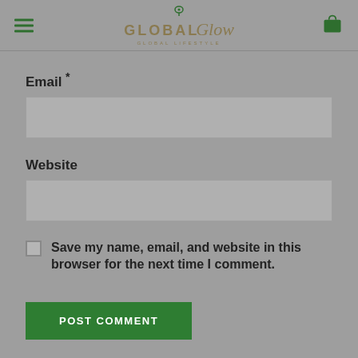GLOBAL Glow — GLOBAL LIFESTYLE
Email *
Website
Save my name, email, and website in this browser for the next time I comment.
POST COMMENT